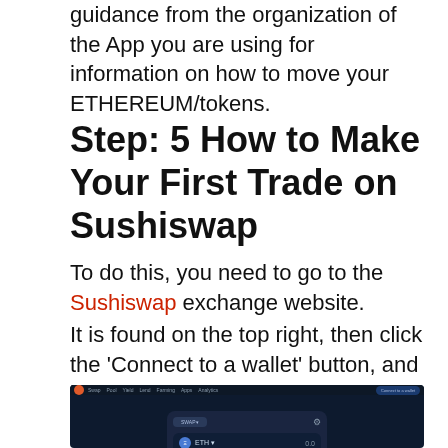guidance from the organization of the App you are using for information on how to move your ETHEREUM/tokens.
Step: 5 How to Make Your First Trade on Sushiswap
To do this, you need to go to the Sushiswap exchange website.
It is found on the top right, then click the ‘Connect to a wallet’ button, and log in with the wallet you wish to trade with.
[Figure (screenshot): Screenshot of the Sushiswap exchange website showing a dark-themed interface with navigation bar at top and a swap card in the center with ETH token fields and 0.0 amounts.]